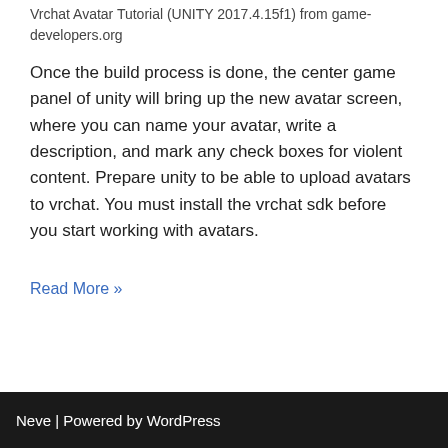Vrchat Avatar Tutorial (UNITY 2017.4.15f1) from game-developers.org
Once the build process is done, the center game panel of unity will bring up the new avatar screen, where you can name your avatar, write a description, and mark any check boxes for violent content. Prepare unity to be able to upload avatars to vrchat. You must install the vrchat sdk before you start working with avatars.
Read More »
Neve | Powered by WordPress